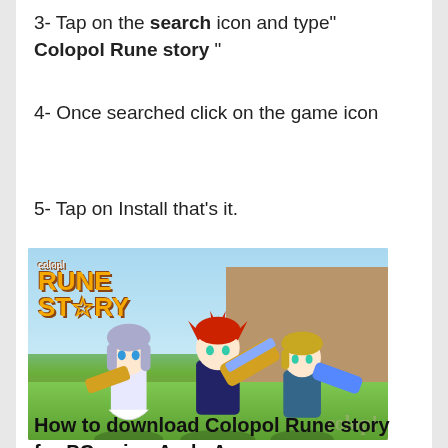3- Tap on the search icon and type" Colopol Rune story "
4- Once searched click on the game icon
5- Tap on Install that's it.
[Figure (screenshot): Game promotional image for Colopol Rune Story showing the game logo in orange/yellow text and three anime-style game characters (a girl with gray hair, a boy with red hair, and a boy with blonde hair) holding weapons, against a stone wall and sky background.]
How to download Colopol Rune story for PC using Andy App